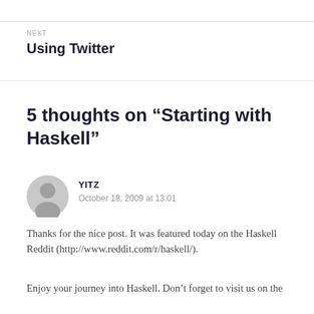NEXT
Using Twitter
5 thoughts on “Starting with Haskell”
YITZ
October 18, 2009 at 13:01
Thanks for the nice post. It was featured today on the Haskell Reddit (http://www.reddit.com/r/haskell/).
Enjoy your journey into Haskell. Don’t forget to visit us on the